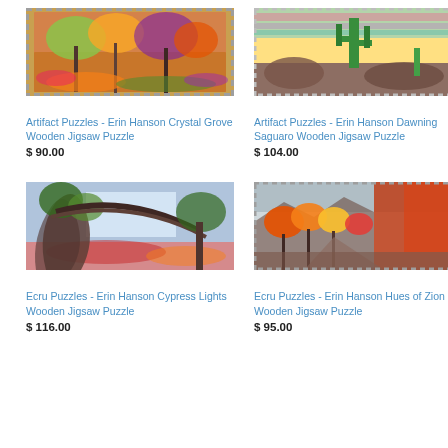[Figure (photo): Artifact Puzzles - Erin Hanson Crystal Grove Wooden Jigsaw Puzzle product image showing impressionist painting of trees with colorful foliage, stamp-edge border]
[Figure (photo): Artifact Puzzles - Erin Hanson Dawning Saguaro Wooden Jigsaw Puzzle product image showing desert scene with saguaro cactus and colorful sky]
Artifact Puzzles - Erin Hanson Crystal Grove Wooden Jigsaw Puzzle
Artifact Puzzles - Erin Hanson Dawning Saguaro Wooden Jigsaw Puzzle
$ 90.00
$ 104.00
[Figure (photo): Ecru Puzzles - Erin Hanson Cypress Lights Wooden Jigsaw Puzzle product image showing impressionist painting of cypress trees arching over colorful meadow]
[Figure (photo): Ecru Puzzles - Erin Hanson Hues of Zion Wooden Jigsaw Puzzle product image showing autumn canyon scene with red and orange trees and cliffs, stamp-edge border]
Ecru Puzzles - Erin Hanson Cypress Lights Wooden Jigsaw Puzzle
Ecru Puzzles - Erin Hanson Hues of Zion Wooden Jigsaw Puzzle
$ 116.00
$ 95.00